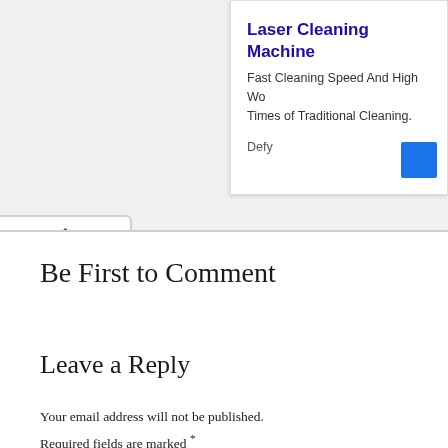[Figure (screenshot): Ad banner for Laser Cleaning Machine. Title: 'Laser Cleaning Machine', description: 'Fast Cleaning Speed And High Wo... Times of Traditional Cleaning.', source: 'Defy', with a blue button on the right.]
Be First to Comment
Leave a Reply
Your email address will not be published. Required fields are marked *